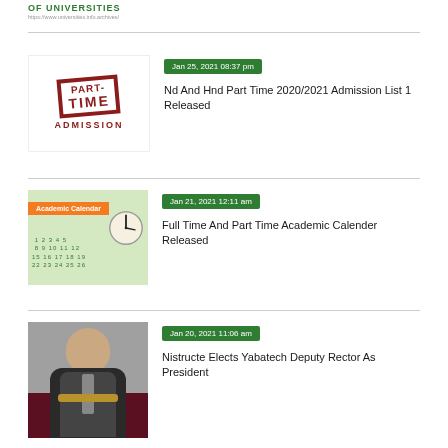[Figure (logo): University network logo with green text 'OF UNIVERSITIES' and URL]
[Figure (photo): Part-Time Admission stamp image with red bold text]
Jan 25, 2021 08:37 pm
Nd And Hnd Part Time 2020/2021 Admission List 1 Released
[Figure (photo): Academic Calendar image with orange banner and calendar/clock graphics]
Jan 21, 2021 12:11 am
Full Time And Part Time Academic Calender Released
[Figure (photo): Portrait photo of a man in suit with medal/chain]
Jan 20, 2021 11:06 am
Nistructe Elects Yabatech Deputy Rector As President